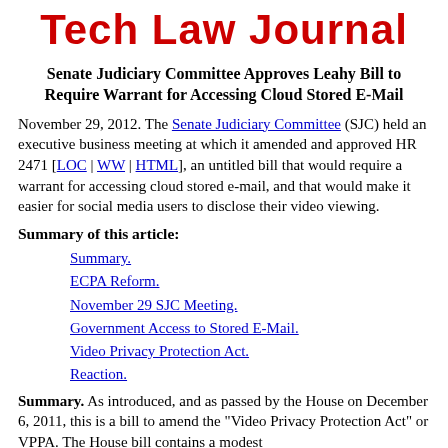Tech Law Journal
Senate Judiciary Committee Approves Leahy Bill to Require Warrant for Accessing Cloud Stored E-Mail
November 29, 2012. The Senate Judiciary Committee (SJC) held an executive business meeting at which it amended and approved HR 2471 [LOC | WW | HTML], an untitled bill that would require a warrant for accessing cloud stored e-mail, and that would make it easier for social media users to disclose their video viewing.
Summary of this article:
Summary.
ECPA Reform.
November 29 SJC Meeting.
Government Access to Stored E-Mail.
Video Privacy Protection Act.
Reaction.
Summary. As introduced, and as passed by the House on December 6, 2011, this is a bill to amend the "Video Privacy Protection Act" or VPPA. The House bill contains a modest